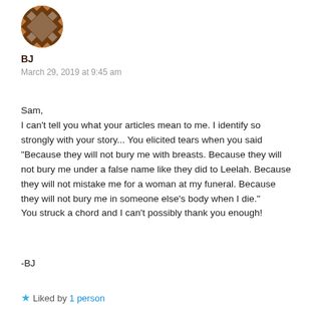[Figure (illustration): User avatar: a brown and white geometric quilt-pattern square icon]
BJ
March 29, 2019 at 9:45 am
Sam,
I can't tell you what your articles mean to me. I identify so strongly with your story... You elicited tears when you said "Because they will not bury me with breasts. Because they will not bury me under a false name like they did to Leelah. Because they will not mistake me for a woman at my funeral. Because they will not bury me in someone else's body when I die."
You struck a chord and I can't possibly thank you enough!
-BJ
Liked by 1 person